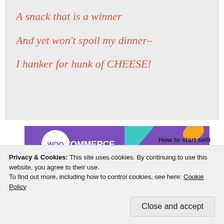A snack that is a winner

And yet won't spoil my dinner–

I hanker for hunk of CHEESE!
[Figure (other): WooCommerce advertisement banner: purple logo on left with 'WOO COMMERCE', text 'How to start selling subscriptions online' on right with orange and teal decorative shapes]
In the 80s, when I took up my low-fat, vegetarian ways,
Privacy & Cookies: This site uses cookies. By continuing to use this website, you agree to their use.
To find out more, including how to control cookies, see here: Cookie Policy
Close and accept